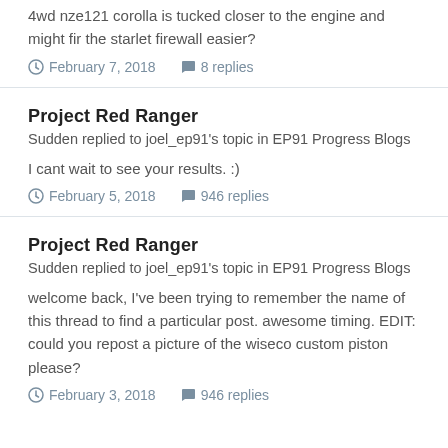4wd nze121 corolla is tucked closer to the engine and might fir the starlet firewall easier?
February 7, 2018   8 replies
Project Red Ranger
Sudden replied to joel_ep91's topic in EP91 Progress Blogs
I cant wait to see your results. :)
February 5, 2018   946 replies
Project Red Ranger
Sudden replied to joel_ep91's topic in EP91 Progress Blogs
welcome back, I've been trying to remember the name of this thread to find a particular post. awesome timing. EDIT: could you repost a picture of the wiseco custom piston please?
February 3, 2018   946 replies